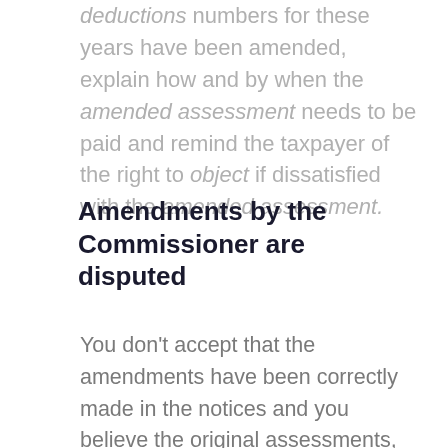deductions numbers for these years have been amended, explain how and by when the amended assessment needs to be paid and remind the taxpayer of the right to object if dissatisfied with the amended assessment.
Amendments by the Commissioner are disputed
You don't accept that the amendments have been correctly made in the notices and you believe the original assessments, which were based on the income tax returns you prepared, remain correct.